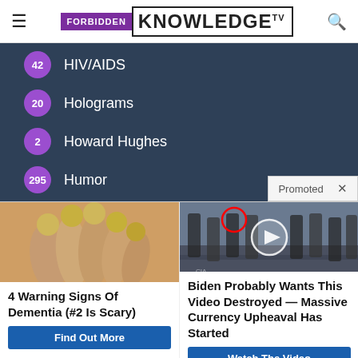FORBIDDEN KNOWLEDGE TV
42 HIV/AIDS
20 Holograms
2 Howard Hughes
295 Humor
Promoted ×
[Figure (photo): Close-up of fingers with yellowed nails]
4 Warning Signs Of Dementia (#2 Is Scary)
Find Out More
[Figure (photo): Group of men in suits at CIA, with red circle highlighting one person and a video play button overlay]
Biden Probably Wants This Video Destroyed — Massive Currency Upheaval Has Started
Watch The Video